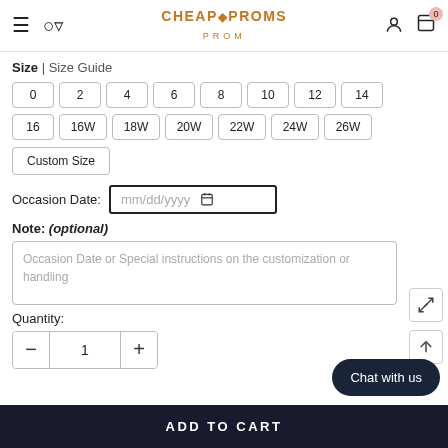CheapProms - navigation header with hamburger menu, search, logo, user icon, cart (0)
Size | Size Guide
0  2  4  6  8  10  12  14
16  16W  18W  20W  22W  24W  26W
Custom Size
Occasion Date: mm/dd/yyyy
Note: (optional)
Occasion Date or Special instructions on the customization or handling
Quantity:
- 1 +
ADD TO CART
Chat with us